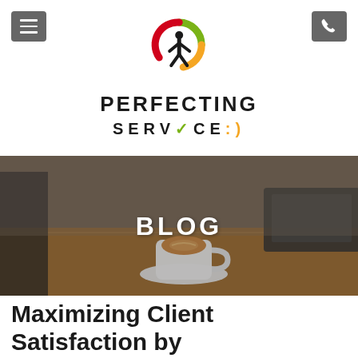Perfecting Service:)
[Figure (logo): Perfecting Service logo with colorful circular figure icon above text reading PERFECTING SERVICE:) in bold black letters]
[Figure (photo): Coffee cup with latte art on a wooden table next to a laptop, serving as a blog hero banner with BLOG text overlay]
Maximizing Client Satisfaction by Minimizing Customer Complaints